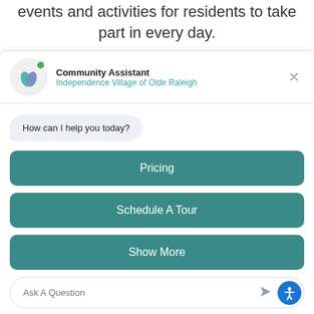events and activities for residents to take part in every day.
Community Assistant
Independence Village of Olde Raleigh
How can I help you today?
Pricing
Schedule A Tour
Show More
Ask A Question